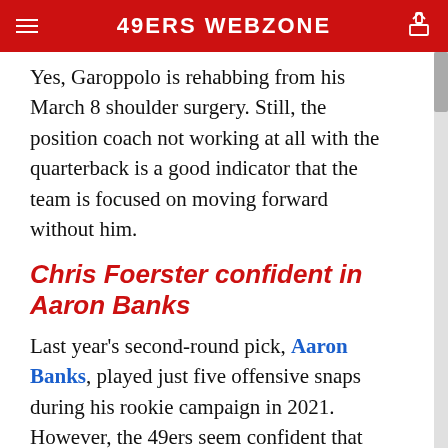49ERS WEBZONE
Yes, Garoppolo is rehabbing from his March 8 shoulder surgery. Still, the position coach not working at all with the quarterback is a good indicator that the team is focused on moving forward without him.
Chris Foerster confident in Aaron Banks
Last year's second-round pick, Aaron Banks, played just five offensive snaps during his rookie campaign in 2021. However, the 49ers seem confident that the offensive lineman can make more of an impact during his second NFL season.
49ers offensive line coach Chris Foerster believes Banks can earn the starting left guard spot following the